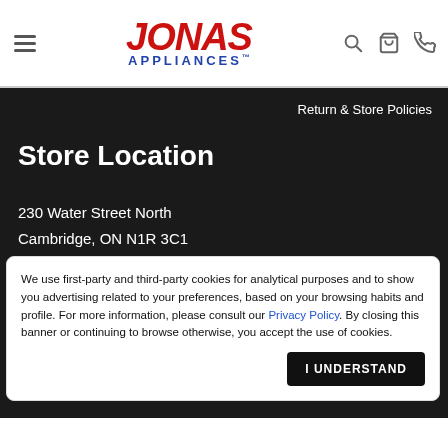Jonas Appliances — navigation header with hamburger menu, logo, search, cart, and phone icons
Return & Store Policies
Store Location
230 Water Street North
Cambridge, ON N1R 3C1
(519) 621-3171
Contact Us
We use first-party and third-party cookies for analytical purposes and to show you advertising related to your preferences, based on your browsing habits and profile. For more information, please consult our Privacy Policy. By closing this banner or continuing to browse otherwise, you accept the use of cookies.
I UNDERSTAND